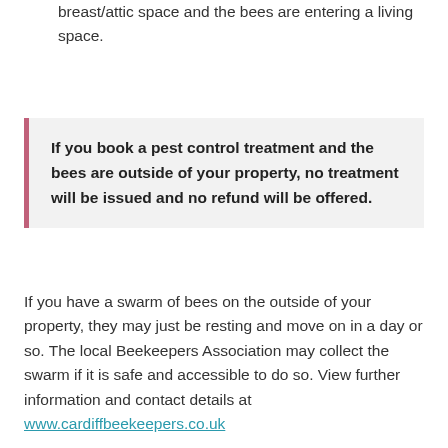breast/attic space and the bees are entering a living space.
If you book a pest control treatment and the bees are outside of your property, no treatment will be issued and no refund will be offered.
If you have a swarm of bees on the outside of your property, they may just be resting and move on in a day or so. The local Beekeepers Association may collect the swarm if it is safe and accessible to do so. View further information and contact details at www.cardiffbeekeepers.co.uk